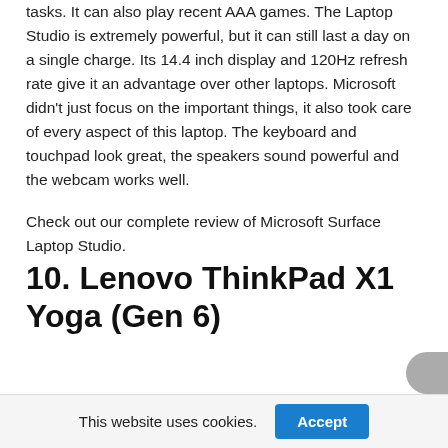tasks. It can also play recent AAA games. The Laptop Studio is extremely powerful, but it can still last a day on a single charge. Its 14.4 inch display and 120Hz refresh rate give it an advantage over other laptops. Microsoft didn't just focus on the important things, it also took care of every aspect of this laptop. The keyboard and touchpad look great, the speakers sound powerful and the webcam works well.

Check out our complete review of Microsoft Surface Laptop Studio.
10. Lenovo ThinkPad X1 Yoga (Gen 6)
Best 2-in-1 laptop for businesses
This website uses cookies.